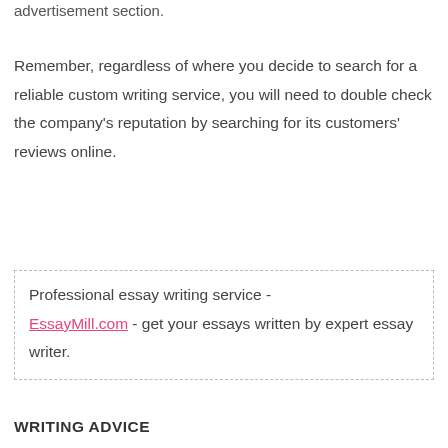advertisement section.
Remember, regardless of where you decide to search for a reliable custom writing service, you will need to double check the company's reputation by searching for its customers' reviews online.
Professional essay writing service - EssayMill.com - get your essays written by expert essay writer.
WRITING ADVICE